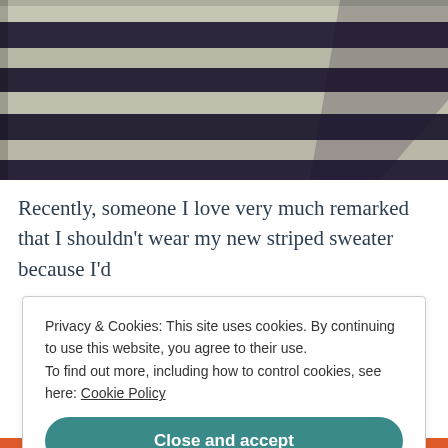[Figure (photo): Close-up photo of a navy and grey horizontal striped sweater]
Recently, someone I love very much remarked that I shouldn't wear my new striped sweater because I'd
Privacy & Cookies: This site uses cookies. By continuing to use this website, you agree to their use.
To find out more, including how to control cookies, see here: Cookie Policy

Close and accept